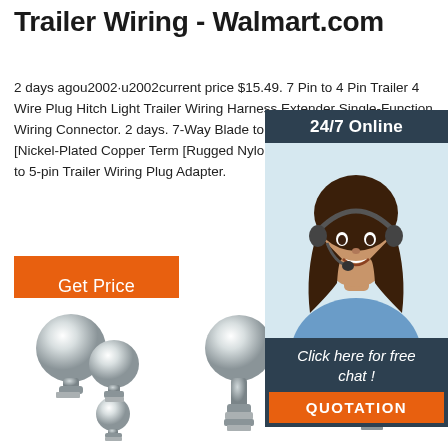Trailer Wiring - Walmart.com
2 days agou2002·u2002current price $15.49. 7 Pin to 4 Pin Trailer 4 Wire Plug Hitch Light Trailer Wiring Harness Extender Single-Function Wiring Connector. 2 days. 7-Way Blade to 5-Way Trailer Adapter [Nickel-Plated Copper Term [Rugged Nylon Housing] [Compact Design to 5-pin Trailer Wiring Plug Adapter.
[Figure (infographic): Orange 'Get Price' button]
[Figure (photo): Sidebar advertisement showing a woman with headset, '24/7 Online' header, 'Click here for free chat!' text, and orange 'QUOTATION' button on dark navy background]
[Figure (photo): Three chrome trailer hitch balls of different sizes arranged together on the left product image]
[Figure (photo): Single chrome trailer hitch ball with stem, center product image]
[Figure (photo): Single chrome trailer hitch ball with longer stem, right product image]